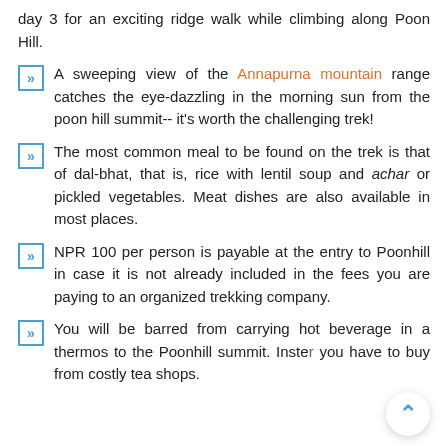day 3 for an exciting ridge walk while climbing along Poon Hill.
A sweeping view of the Annapurna mountain range catches the eye-dazzling in the morning sun from the poon hill summit-- it's worth the challenging trek!
The most common meal to be found on the trek is that of dal-bhat, that is, rice with lentil soup and achar or pickled vegetables. Meat dishes are also available in most places.
NPR 100 per person is payable at the entry to Poonhill in case it is not already included in the fees you are paying to an organized trekking company.
You will be barred from carrying hot beverage in a thermos to the Poonhill summit. Instead you have to buy from costly tea shops.